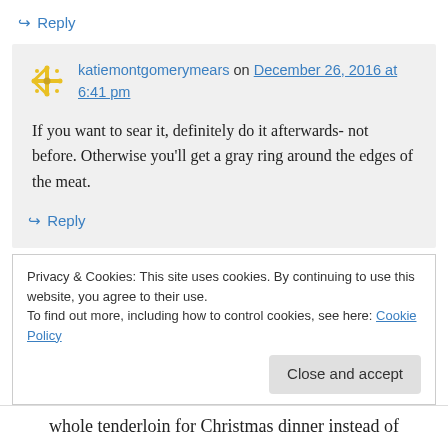↪ Reply
katiemontgomerymears on December 26, 2016 at 6:41 pm
If you want to sear it, definitely do it afterwards- not before. Otherwise you'll get a gray ring around the edges of the meat.
↪ Reply
Privacy & Cookies: This site uses cookies. By continuing to use this website, you agree to their use. To find out more, including how to control cookies, see here: Cookie Policy
Close and accept
whole tenderloin for Christmas dinner instead of